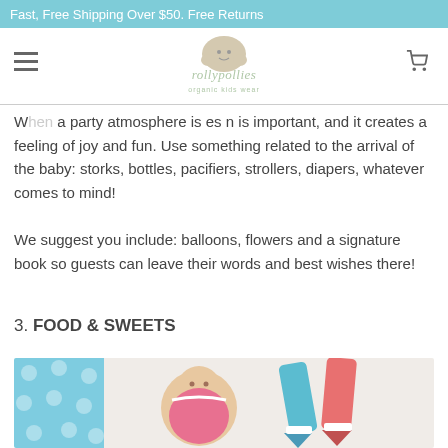Fast, Free Shipping Over $50. Free Returns
[Figure (logo): Rollypollies organic kids wear logo with illustrated caterpillar/ladybug character]
When a party atmosphere is important, and it creates a feeling of joy and fun. Use something related to the arrival of the baby: storks, bottles, pacifiers, strollers, diapers, whatever comes to mind!
We suggest you include: balloons, flowers and a signature book so guests can leave their words and best wishes there!
3. FOOD & SWEETS
[Figure (photo): Baby shower cookies being decorated with icing — baby girl cookie and piping bags with pink and teal frosting on polka dot background]